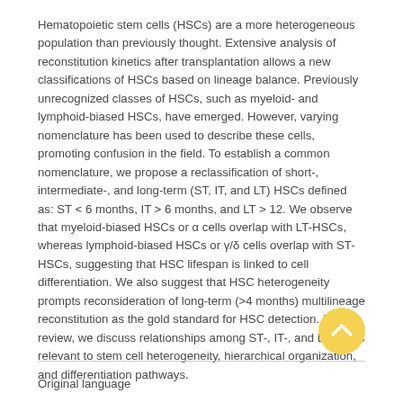Hematopoietic stem cells (HSCs) are a more heterogeneous population than previously thought. Extensive analysis of reconstitution kinetics after transplantation allows a new classifications of HSCs based on lineage balance. Previously unrecognized classes of HSCs, such as myeloid- and lymphoid-biased HSCs, have emerged. However, varying nomenclature has been used to describe these cells, promoting confusion in the field. To establish a common nomenclature, we propose a reclassification of short-, intermediate-, and long-term (ST, IT, and LT) HSCs defined as: ST < 6 months, IT > 6 months, and LT > 12. We observe that myeloid-biased HSCs or α cells overlap with LT-HSCs, whereas lymphoid-biased HSCs or γ/δ cells overlap with ST-HSCs, suggesting that HSC lifespan is linked to cell differentiation. We also suggest that HSC heterogeneity prompts reconsideration of long-term (>4 months) multilineage reconstitution as the gold standard for HSC detection. In this review, we discuss relationships among ST-, IT-, and LT-HSCs relevant to stem cell heterogeneity, hierarchical organization, and differentiation pathways.
[Figure (other): Yellow circular scroll-to-top button with upward chevron arrow]
Original language